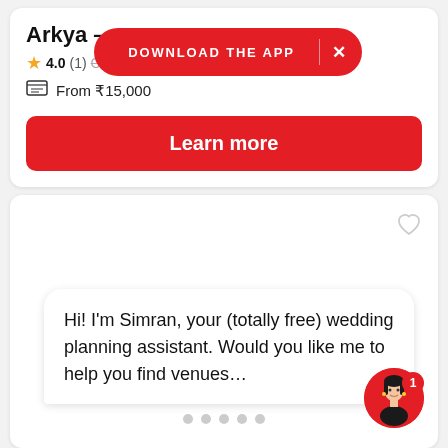[Figure (screenshot): Download the App banner overlay in red with close button]
Arkya -
4.0 (1) · Old Gurgaon - Sector 14, Gurgaon
From ₹15,000
Learn more
[Figure (screenshot): Chat assistant card with heart icon, showing Simran chatbot message and avatar with badge]
Hi! I'm Simran, your (totally free) wedding planning assistant. Would you like me to help you find venues…